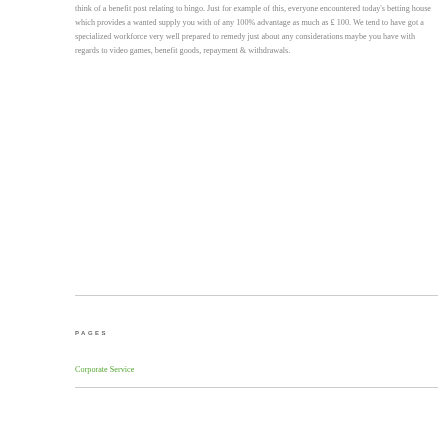think of a benefit post relating to bingo. Just for example of this, everyone encountered today's betting house which provides a wanted supply you with of any 100% advantage as much as £ 100. We tend to have got a specialized workforce very well prepared to remedy just about any considerations maybe you have with regards to video games, benefit goods, repayment & withdrawals.
PAGES
Corporate Service